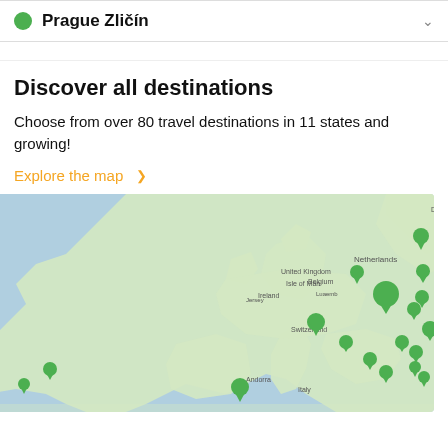Prague Zličín
Discover all destinations
Choose from over 80 travel destinations in 11 states and growing!
Explore the map >
[Figure (map): Map of Europe with green location pins marking travel destinations including Netherlands, Denmark, Poland, Czech Republic, Belgium, Luxembourg, France, Switzerland, Austria, Hungary, Romania, Croatia, Serbia, Monaco, Andorra, Italy, Vatican, Kosovo, Bulgaria, Albania, Macedonia]